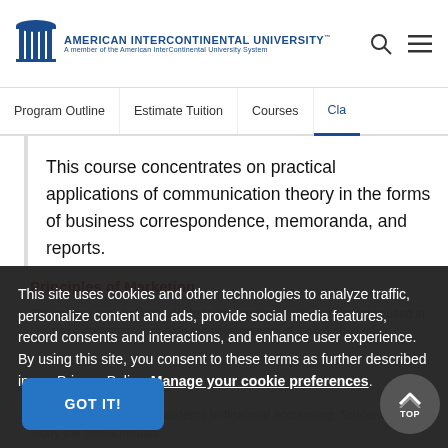AMERICAN INTERCONTINENTAL UNIVERSITY — A member of the American InterContinental University System
Program Outline | Estimate Tuition | Courses | Cla...
This course concentrates on practical applications of communication theory in the forms of business correspondence, memoranda, and reports.
Principles of Marketing
This course introduces students to the fundamentals and concepts used in business marketing, including the development of a marketing mix.
Principles of Accounting I
This course introduces students to financial accounting. Students can study the fundamentals
This site uses cookies and other technologies to analyze traffic, personalize content and ads, provide social media features, record consents and interactions, and enhance user experience. By using this site, you consent to these terms as further described in our Privacy Policy. Manage your cookie preferences.